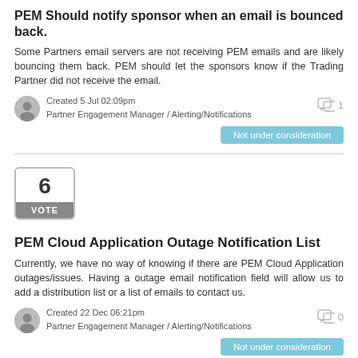PEM Should notify sponsor when an email is bounced back.
Some Partners email servers are not receiving PEM emails and are likely bouncing them back. PEM should let the sponsors know if the Trading Partner did not receive the email.
Created 5 Jul 02:09pm
Partner Engagement Manager / Alerting/Notifications
1
Not under consideration
[Figure (other): Vote box showing number 6 and VOTE label]
PEM Cloud Application Outage Notification List
Currently, we have no way of knowing if there are PEM Cloud Application outages/issues. Having a outage email notification field will allow us to add a distribution list or a list of emails to contact us.
Created 22 Dec 06:21pm
Partner Engagement Manager / Alerting/Notifications
0
Not under consideration